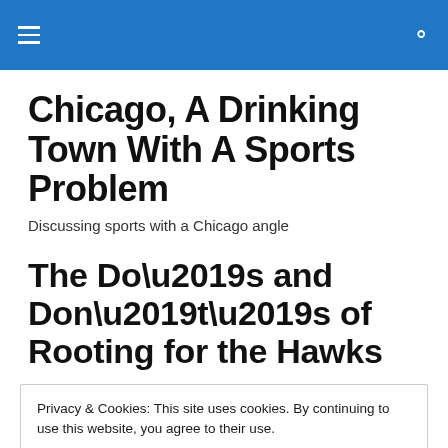Chicago, A Drinking Town With A Sports Problem
Discussing sports with a Chicago angle
The Do’s and Don’t’s of Rooting for the Hawks
Privacy & Cookies: This site uses cookies. By continuing to use this website, you agree to their use.
To find out more, including how to control cookies, see here: Cookie Policy
Close and accept